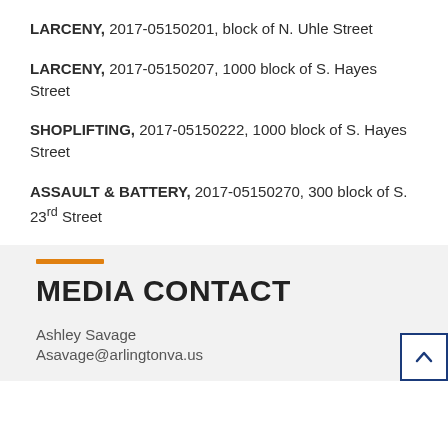LARCENY, 2017-05150201, block of N. Uhle Street
LARCENY, 2017-05150207, 1000 block of S. Hayes Street
SHOPLIFTING, 2017-05150222, 1000 block of S. Hayes Street
ASSAULT & BATTERY, 2017-05150270, 300 block of S. 23rd Street
MEDIA CONTACT
Ashley Savage
Asavage@arlingtonva.us